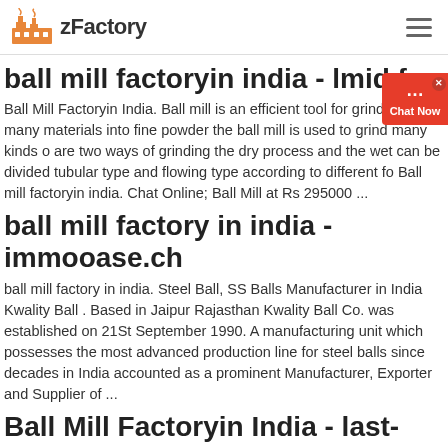zFactory
ball mill factoryin india - lmid.fr
Ball Mill Factoryin India. Ball mill is an efficient tool for grinding many materials into fine powder the ball mill is used to grind many kinds o are two ways of grinding the dry process and the wet can be divided tubular type and flowing type according to different fo Ball mill factoryin india. Chat Online; Ball Mill at Rs 295000 ...
ball mill factory in india - immooase.ch
ball mill factory in india. Steel Ball, SS Balls Manufacturer in India Kwality Ball . Based in Jaipur Rajasthan Kwality Ball Co. was established on 21St September 1990. A manufacturing unit which possesses the most advanced production line for steel balls since decades in India accounted as a prominent Manufacturer, Exporter and Supplier of ...
Ball Mill Factoryin India - last-